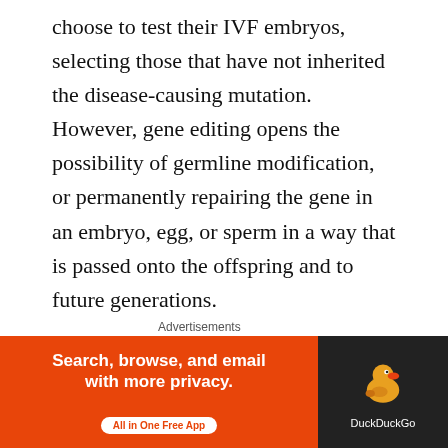choose to test their IVF embryos, selecting those that have not inherited the disease-causing mutation. However, gene editing opens the possibility of germline modification, or permanently repairing the gene in an embryo, egg, or sperm in a way that is passed onto the offspring and to future generations.
That idea is the subject of intense debate, since some think the human gene pool is sacrosanct and should never be the subject of technological alteration, even for medical reasons. Others allow that germline engineering might one day be useful, but needs much more testing.
[Figure (screenshot): DuckDuckGo advertisement banner: orange section on left reading 'Search, browse, and email with more privacy.' with 'All in One Free App' button, and DuckDuckGo logo/duck icon on dark right section.]